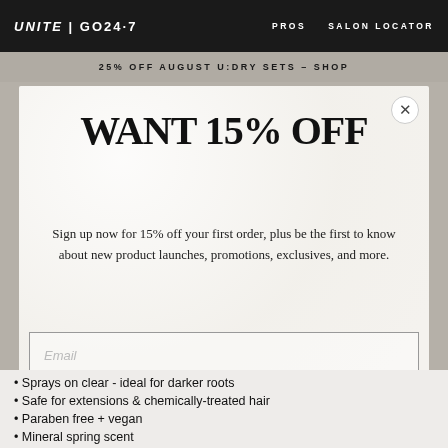UNITE | GO247   PROS   SALON LOCATOR
25% OFF AUGUST U:DRY SETS – SHOP
WANT 15% OFF
Sign up now for 15% off your first order, plus be the first to know about new product launches, promotions, exclusives, and more.
Email
SIGN UP
Rewards
• Sprays on clear - ideal for darker roots
• Safe for extensions & chemically-treated hair
• Paraben free + vegan
• Mineral spring scent